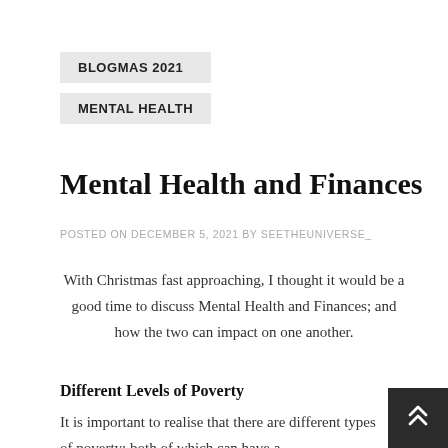BLOGMAS 2021
MENTAL HEALTH
Mental Health and Finances
POSTED ON DECEMBER 5, 2021 BY SEETHEUNIVERSE_
With Christmas fast approaching, I thought it would be a good time to discuss Mental Health and Finances; and how the two can impact on one another.
Different Levels of Poverty
It is important to realise that there are different types of poverty; both of which can have a